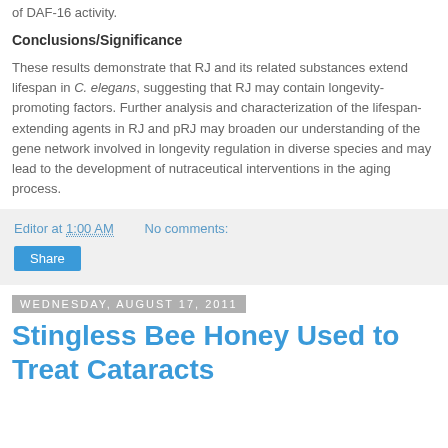of DAF-16 activity.
Conclusions/Significance
These results demonstrate that RJ and its related substances extend lifespan in C. elegans, suggesting that RJ may contain longevity-promoting factors. Further analysis and characterization of the lifespan-extending agents in RJ and pRJ may broaden our understanding of the gene network involved in longevity regulation in diverse species and may lead to the development of nutraceutical interventions in the aging process.
Editor at 1:00 AM   No comments:
Share
Wednesday, August 17, 2011
Stingless Bee Honey Used to Treat Cataracts